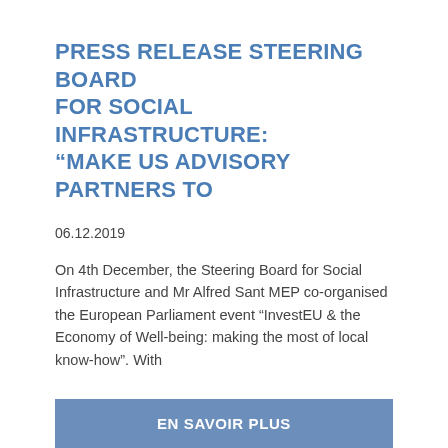PRESS RELEASE STEERING BOARD FOR SOCIAL INFRASTRUCTURE: “MAKE US ADVISORY PARTNERS TO
06.12.2019
On 4th December, the Steering Board for Social Infrastructure and Mr Alfred Sant MEP co-organised the European Parliament event “InvestEU & the Economy of Well-being: making the most of local know-how”. With
EN SAVOIR PLUS